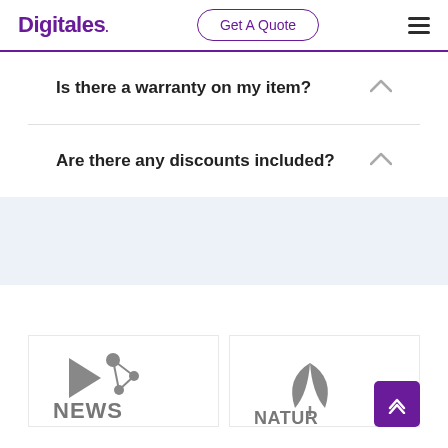Digitales. | Get A Quote | ☰
Is there a warranty on my item?
Are there any discounts included?
[Figure (logo): NEWS logo with play-button icon and molecules graphic, gray]
[Figure (logo): Nature/leaf logo, gray with two leaves motif]